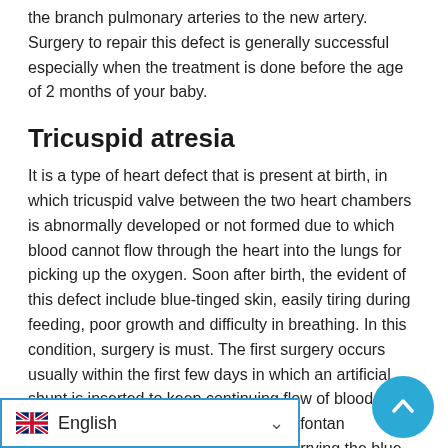the branch pulmonary arteries to the new artery. Surgery to repair this defect is generally successful especially when the treatment is done before the age of 2 months of your baby.
Tricuspid atresia
It is a type of heart defect that is present at birth, in which tricuspid valve between the two heart chambers is abnormally developed or not formed due to which blood cannot flow through the heart into the lungs for picking up the oxygen. Soon after birth, the evident of this defect include blue-tinged skin, easily tiring during feeding, poor growth and difficulty in breathing. In this condition, surgery is must. The first surgery occurs usually within the first few days in which an artificial shunt is inserted to keep continuing flow of blood to the lungs. In the second stage called hemifontan procedure in which half of the veins carrying the blue blood are connected from the upper half of the body to the pulmonary artery directly and the final step called fontan he rest of the veins carrying ulmonary artery leading to